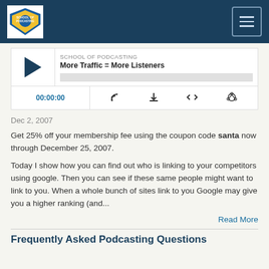School of Podcasting
[Figure (other): Podcast audio player widget with play button, episode title 'More Traffic = More Listeners', progress bar, time display 00:00:00, and control icons for subscribe, download, embed, and share]
Dec 2, 2007
Get 25% off your membership fee using the coupon code santa now through December 25, 2007.
Today I show how you can find out who is linking to your competitors using google. Then you can see if these same people might want to link to you. When a whole bunch of sites link to you Google may give you a higher ranking (and...
Read More
Frequently Asked Podcasting Questions